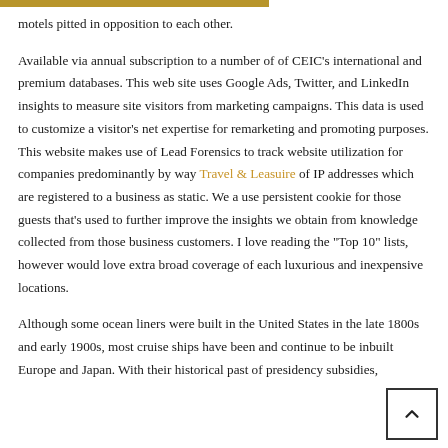motels pitted in opposition to each other.
Available via annual subscription to a number of of CEIC’s international and premium databases. This web site uses Google Ads, Twitter, and LinkedIn insights to measure site visitors from marketing campaigns. This data is used to customize a visitor’s net expertise for remarketing and promoting purposes. This website makes use of Lead Forensics to track website utilization for companies predominantly by way Travel & Leasuire of IP addresses which are registered to a business as static. We a use persistent cookie for those guests that’s used to further improve the insights we obtain from knowledge collected from those business customers. I love reading the “Top 10” lists, however would love extra broad coverage of each luxurious and inexpensive locations.
Although some ocean liners were built in the United States in the late 1800s and early 1900s, most cruise ships have been and continue to be inbuilt Europe and Japan. With their historical past of presidency subsidies,